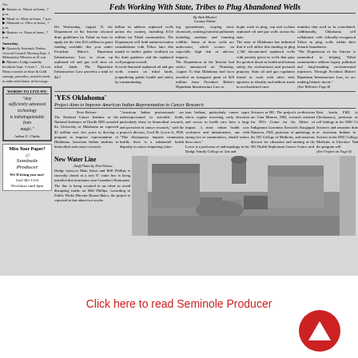Feds Working With State, Tribes to Plug Abandoned Wells
By Bob Medori, County Editor
On Wednesday, August 31 the Department of the Interior released draft guidelines by Tribal on how to apply for the first $50 million in grant funding available this year under President Biden's Bipartisan Infrastructure Law to clean up orphaned oil and gas wells sites on tribal lands. The Bipartisan Infrastructure Law provides a total of $4.7 billion to address orphaned wells across the country, including $150 million for Tribal communities. The Department will hold nation-to-nation consultations with Tribes later this month to further gather feedback on the draft guidance and the orphaned well program overall. Several thousand orphaned oil and gas wells remain on tribal lands, jeopardizing public health and safety by contaminating groundwater, seeping toxic chemicals, emitting harmful pollutants including methane and harming wildlife. Some of these wells are underwater, which creates an especially high risk of adverse impacts. The Department of the Interior had earlier announced on Thursday, August 25 that Oklahoma had been awarded an inaugural grant of $26 million from President Biden's Bipartisan Infrastructure Law to begin work to plug, cap and reclaim orphaned oil and gas wells across the state. The state of Oklahoma has indicated that it will utilize this funding to plug 1,746 documented orphaned wells with priority given to wells that pose the greatest threat to health and human safety, the environment and personal property. State oil and gas regulators intend to work with other state agencies to identify and address tracts in overburdened communities that need to be remediated. Additionally, Oklahoma will collaborate with federally-recognized Tribes to plug wells within their historic boundaries. The Department of the Interior is committed to helping Tribal communities address legacy pollution and long-standing environmental injustices. Through President Biden's Bipartisan Infrastructure Law, we are making historic invest.
'YES Oklahoma'
Project Aims to Improve American Indian Representation in Cancer Research
News Release. The National Cancer Institute of the National Institutes of Health NIH awarded the University of Oklahoma an expected $3 million over five years to develop a program to improve representation of Oklahoma American Indian students in biomedical and cancer research. American Indian professionals are underrepresented in scientific fields, particularly those in biomedical research, and prevalent in cancer research, said the project's director, Cecil M. Lewis Jr., PhD. This discrepancy impacts community health; there is a substantial health disparity in cancer impacting American Indians, particularly cancer types where regular screening, early detection and access to health care have a large impact. A more robust health care workforce and infrastructure, one with strong ties to communities, should reduce these rates. Lewis is a professor of anthropology in the Dodge Family College of Arts and Sciences at OU. The project's co-directors are Cara Monroe, PhD, research scientist for OU's Center for the Ethics of Indigenous Genomics Research; Raugupati Ranaven, PhD, professor of pathology in the OU College of Medicine, and associate director for education and training at the OU Health Stephenson Cancer Center; and Kurt Austin, PhD, (consultant the Chickasaws), professor of anatomy and cell biology in the OSU Center for Health Sciences and associate dean for the Office of American Indians in Medicine and Science at the OSU College of Osteopathic Medicine at Cherokee Nation. Lewis and the program will
New Water Line
–Staff Photo by Don Nelson. Dodge between Main Street and Mill Phillips is currently closed as a new 6" water line is being installed that terminates near Casadorei Restaurant. The line is being rerouted in an effort to avoid disrupting traffic on Mill Phillips. According to Public Works Director Bryant Baker, the project is expected to last about two weeks.
[Figure (photo): Black and white photograph showing construction work on a water line near buildings, with trucks and equipment visible.]
Click here to read Seminole Producer